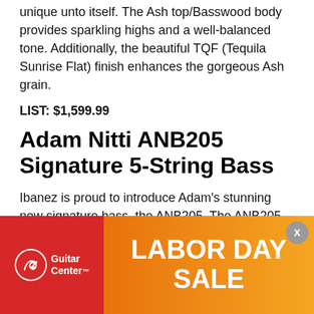unique unto itself. The Ash top/Basswood body provides sparkling highs and a well-balanced tone. Additionally, the beautiful TQF (Tequila Sunrise Flat) finish enhances the gorgeous Ash grain.
LIST: $1,599.99
Adam Nitti ANB205 Signature 5-String Bass
Ibanez is proud to introduce Adam's stunning new signature bass, the ANB205. The ANB205 has a lightweight Swamp Ash body which produces sparkling highs and rich harmonics. The back side of the lower horn has an extra scoop, borrowed from the Ibanez SR's body shape, which enables ... but stress. ... bright highs ... rtolini 59CBJ ... classic
[Figure (advertisement): Guitar Center Labor Day Sale advertisement banner overlay at the bottom of the page. Red section on left with Guitar Center logo, orange gradient section on right with 'LABOR DAY SALE' text in white, and a close button (X) in a grey circle at top right.]